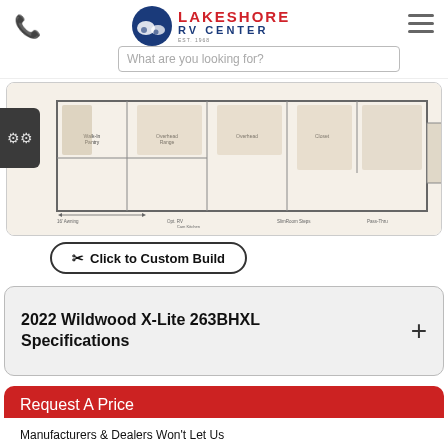[Figure (logo): Lakeshore RV Center logo with blue circle icon and text]
What are you looking for?
[Figure (schematic): Floor plan layout of 2022 Wildwood X-Lite 263BHXL RV showing rooms and features]
✂ Click to Custom Build
2022 Wildwood X-Lite 263BHXL Specifications
Request A Price
Manufacturers & Dealers Won't Let Us Advertise RV Prices